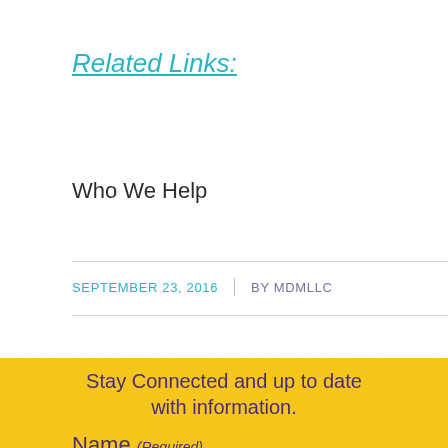Related Links:
Who We Help
SEPTEMBER 23, 2016  |  BY MDMLLC
Stay Connected and up to date with information.
Name (Required)